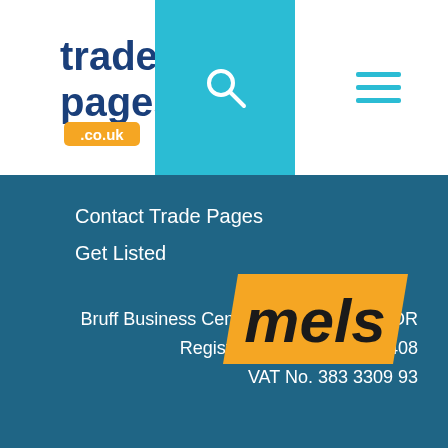[Figure (logo): Trade Pages co.uk logo - blue text with orange accent]
[Figure (other): Search icon (magnifying glass) on teal background]
[Figure (other): Hamburger menu icon on white background]
Contact Trade Pages
Get Listed
Bruff Business Centre, Suckley, WR6 5DR
Registered Co. No. 13406408
VAT No. 383 3309 93
[Figure (logo): IICMS or stylized gold/yellow bold italic logo badge]